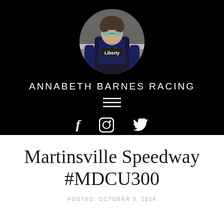[Figure (photo): Circular profile photo of a person wearing a black and blue racing suit with 'Liberty' branding and mirrored sunglasses, taken at a racetrack.]
ANNABETH BARNES RACING
[Figure (other): Hamburger menu icon (three horizontal lines)]
[Figure (other): Social media icons: Facebook (f), Instagram (circle square), Twitter (bird)]
Martinsville Speedway #MDCU300
POSTED: OCTOBER 3, 2014